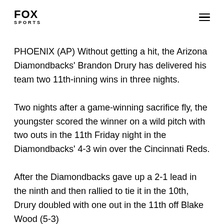FOX SPORTS
PHOENIX (AP) Without getting a hit, the Arizona Diamondbacks' Brandon Drury has delivered his team two 11th-inning wins in three nights.
Two nights after a game-winning sacrifice fly, the youngster scored the winner on a wild pitch with two outs in the 11th Friday night in the Diamondbacks' 4-3 win over the Cincinnati Reds.
After the Diamondbacks gave up a 2-1 lead in the ninth and then rallied to tie it in the 10th, Drury doubled with one out in the 11th off Blake Wood (5-3)